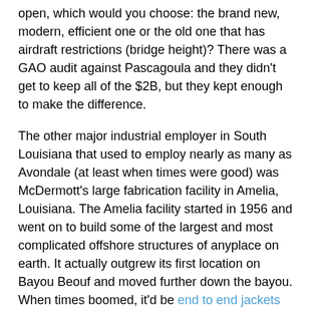open, which would you choose: the brand new, modern, efficient one or the old one that has airdraft restrictions (bridge height)?  There was a GAO audit against Pascagoula and they didn't get to keep all of the $2B, but they kept enough to make the difference.
The other major industrial employer in South Louisiana that used to employ nearly as many as Avondale (at least when times were good) was McDermott's large fabrication facility in Amelia, Louisiana.  The Amelia facility started in 1956 and went on to build some of the largest and most complicated offshore structures of anyplace on earth.  It actually outgrew its first location on Bayou Beouf and moved further down the bayou.  When times boomed, it'd be end to end jackets spread over hundreds of acres with thousands of workers.
[Figure (photo): A placeholder image showing two overlapping polaroid-style photo thumbnails, grey/dark grey rectangles representing photographs, on a white background with a light border.]
Being attached to a highly cyclic industry, the workforce size